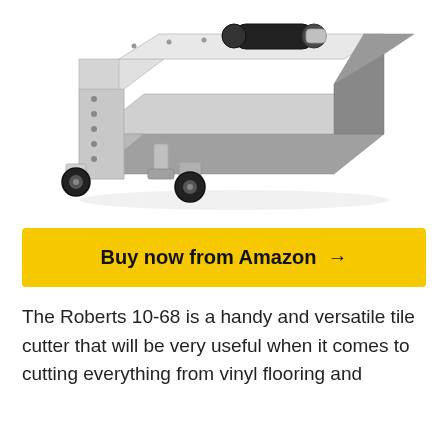[Figure (photo): Photo of the Roberts 10-68 tile cutter — a large silver/aluminum manual floor tile cutter with black rubber wheels, a black roller at the top, and a cutting blade arm. The tool sits on a flat surface at a diagonal perspective.]
Buy now from Amazon →
The Roberts 10-68 is a handy and versatile tile cutter that will be very useful when it comes to cutting everything from vinyl flooring and